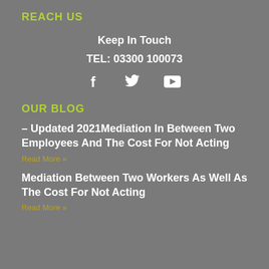REACH US
Keep In Touch
TEL: 03300 100073
[Figure (infographic): Social media icons: Facebook, Twitter, YouTube]
OUR BLOG
– Updated 2021Mediation In Between Two Employees And The Cost For Not Acting
Read More »
Mediation Between Two Workers As Well As The Cost For Not Acting
Read More »